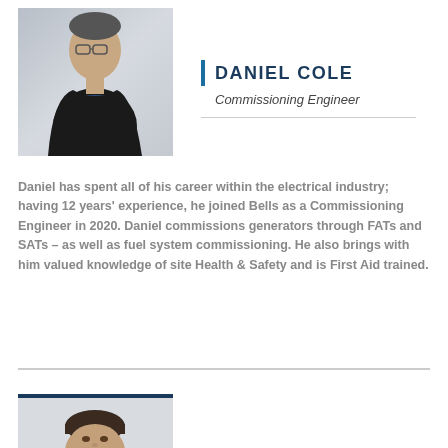[Figure (photo): Professional headshot of Daniel Cole, a young man wearing glasses and a black polo shirt, gray background]
DANIEL COLE
Commissioning Engineer
Daniel has spent all of his career within the electrical industry; having 12 years' experience, he joined Bells as a Commissioning Engineer in 2020. Daniel commissions generators through FATs and SATs – as well as fuel system commissioning. He also brings with him valued knowledge of site Health & Safety and is First Aid trained.
[Figure (photo): Professional headshot of a man with dark hair, light background, partial view (bottom of page)]